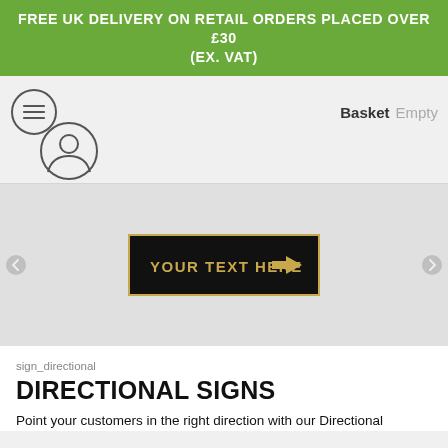FREE UK DELIVERY ON RETAIL ORDERS PLACED OVER £30 (EX. VAT)
[Figure (screenshot): Navigation bar with hamburger menu icon and user account icon on left, Basket Empty on right]
[Figure (photo): A directional sign on a dark background with gold text reading YOUR TEXT HERE and a gold arrow pointing right]
sign_directional
DIRECTIONAL SIGNS
Point your customers in the right direction with our Directional